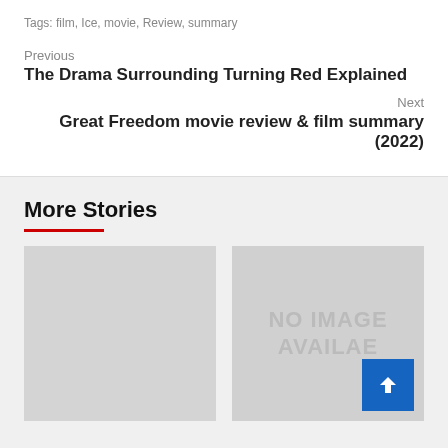Tags: film, Ice, movie, Review, summary
Previous
The Drama Surrounding Turning Red Explained
Next
Great Freedom movie review & film summary (2022)
More Stories
[Figure (photo): Empty gray image placeholder on the left]
[Figure (photo): Gray image placeholder with text 'NO IMAGE AVAILABLE' and a blue scroll-to-top button in the bottom right]